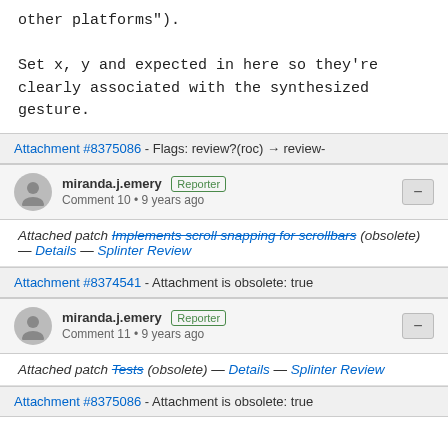other platforms").

Set x, y and expected in here so they're clearly associated with the synthesized gesture.
Attachment #8375086 - Flags: review?(roc) → review-
miranda.j.emery [Reporter]
Comment 10 • 9 years ago
Attached patch Implements scroll snapping for scrollbars (obsolete) — Details — Splinter Review
Attachment #8374541 - Attachment is obsolete: true
miranda.j.emery [Reporter]
Comment 11 • 9 years ago
Attached patch Tests (obsolete) — Details — Splinter Review
Attachment #8375086 - Attachment is obsolete: true